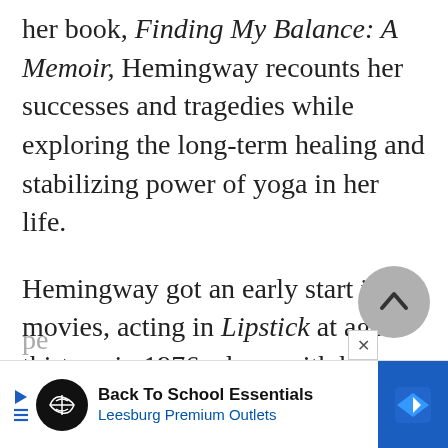her book, Finding My Balance: A Memoir, Hemingway recounts her successes and tragedies while exploring the long-term healing and stabilizing power of yoga in her life.
Hemingway got an early start in movies, acting in Lipstick at age thirteen in 1976, along with her sister, Margaux, who had encouraged her to try out for the part. She then played opposite Woody Allen in Manhattan, a pe...
[Figure (other): Gray circular scroll-to-top button with upward chevron arrow]
[Figure (infographic): Advertisement banner: Back To School Essentials - Leesburg Premium Outlets, with circular black logo icon and blue diamond navigation icon on right]